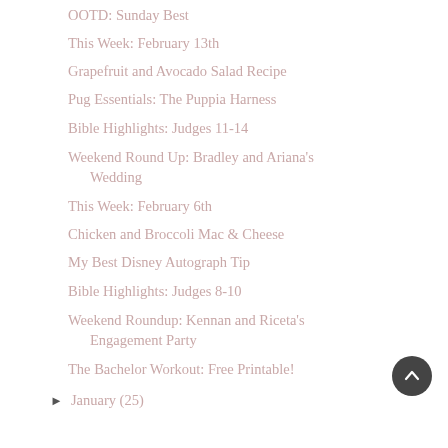OOTD: Sunday Best
This Week: February 13th
Grapefruit and Avocado Salad Recipe
Pug Essentials: The Puppia Harness
Bible Highlights: Judges 11-14
Weekend Round Up: Bradley and Ariana's Wedding
This Week: February 6th
Chicken and Broccoli Mac & Cheese
My Best Disney Autograph Tip
Bible Highlights: Judges 8-10
Weekend Roundup: Kennan and Riceta's Engagement Party
The Bachelor Workout: Free Printable!
► January (25)